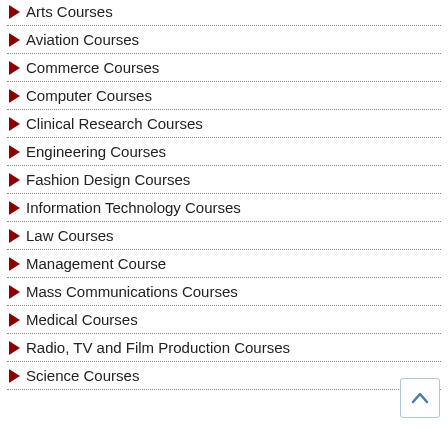Arts Courses
Aviation Courses
Commerce Courses
Computer Courses
Clinical Research Courses
Engineering Courses
Fashion Design Courses
Information Technology Courses
Law Courses
Management Course
Mass Communications Courses
Medical Courses
Radio, TV and Film Production Courses
Science Courses